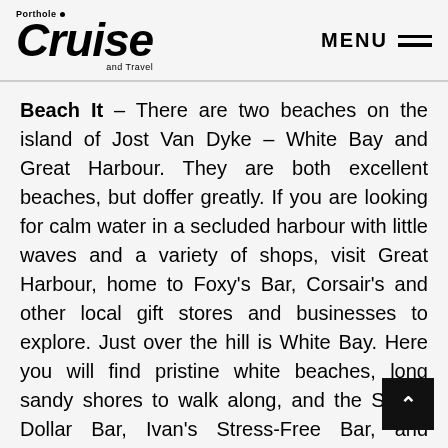Porthole Cruise and Travel — MENU
Beach It – There are two beaches on the island of Jost Van Dyke – White Bay and Great Harbour. They are both excellent beaches, but doffer greatly. If you are looking for calm water in a secluded harbour with little waves and a variety of shops, visit Great Harbour, home to Foxy's Bar, Corsair's and other local gift stores and businesses to explore. Just over the hill is White Bay. Here you will find pristine white beaches, long sandy shores to walk along, and the Soggy Dollar Bar, Ivan's Stress-Free Bar, and Hendo's Hideout. White Bay is also home to an excellent snorkeling reef which is located